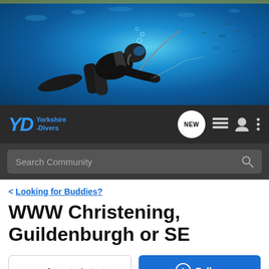[Figure (photo): Scuba diver underwater in blue ocean water with fish in background, hero banner image]
Yorkshire-Divers navigation bar with logo, NEW button, list icon, user icon, and menu icon
Search Community
< Looking for Buddies?
WWW Christening, Guildenburgh or SE
→ Jump to Latest
+ Follow
1 - 7 of 7 Posts